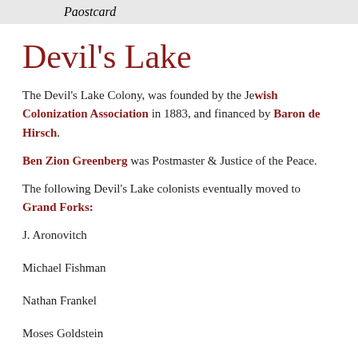Paostcard
Devil's Lake
The Devil's Lake Colony, was founded by the Jewish Colonization Association in 1883, and financed by Baron de Hirsch.
Ben Zion Greenberg was Postmaster & Justice of the Peace.
The following Devil's Lake colonists eventually moved to Grand Forks:
J. Aronovitch
Michael Fishman
Nathan Frankel
Moses Goldstein